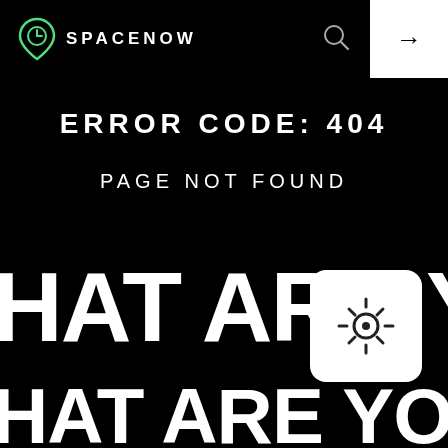[Figure (logo): SpaceNow logo: green map pin icon with clock face, followed by SPACENOW text in white]
[Figure (other): Search icon (magnifying glass) in white]
[Figure (other): White box with right arrow (navigation button) in top right corner]
ERROR CODE: 404
PAGE NOT FOUND
WHAT ARE YOU LO
[Figure (other): White rounded square badge with sun/settings icon]
WHAT ARE YOU LO